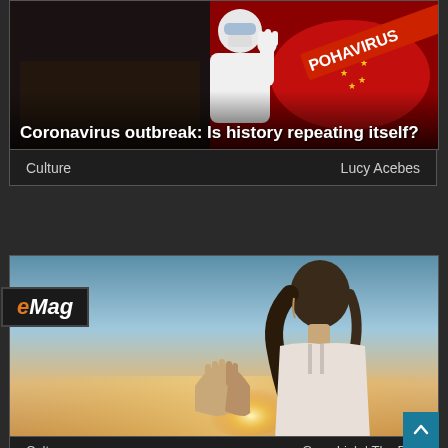[Figure (illustration): Article card with coronavirus-themed illustration showing a person in hazmat suit gesturing stop, with a red China map and CORONAVIRUS text, overlaid on historical plague imagery]
Coronavirus outbreak: Is history repeating itself?
Culture   Lucy Acebes
[Figure (photo): eMag article card featuring a woman in profile with hands clasped in prayer pose, backlit by golden sunset light]
Culture   Gray, Linh | The Bl...